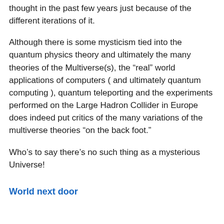thought in the past few years just because of the different iterations of it.
Although there is some mysticism tied into the quantum physics theory and ultimately the many theories of the Multiverse(s), the “real” world applications of computers ( and ultimately quantum computing ), quantum teleporting and the experiments performed on the Large Hadron Collider in Europe does indeed put critics of the many variations of the multiverse theories “on the back foot.”
Who’s to say there’s no such thing as a mysterious Universe!
World next door